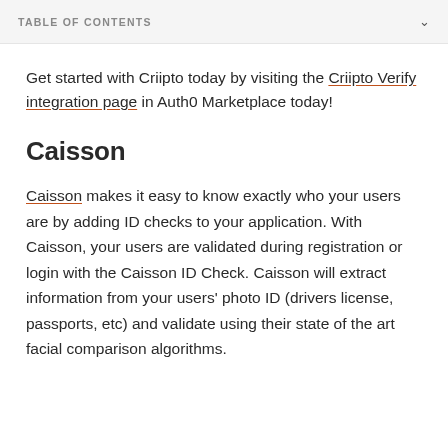TABLE OF CONTENTS
Get started with Criipto today by visiting the Criipto Verify integration page in Auth0 Marketplace today!
Caisson
Caisson makes it easy to know exactly who your users are by adding ID checks to your application. With Caisson, your users are validated during registration or login with the Caisson ID Check. Caisson will extract information from your users' photo ID (drivers license, passports, etc) and validate using their state of the art facial comparison algorithms.